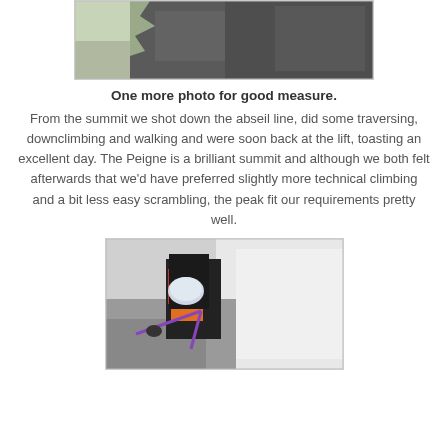[Figure (photo): Close-up photo of rocky mountain surface with dark granite and a glimpse of sky/vegetation in background, partially cropped at top]
One more photo for good measure.
From the summit we shot down the abseil line, did some traversing, downclimbing and walking and were soon back at the lift, toasting an excellent day. The Peigne is a brilliant summit and although we both felt afterwards that we'd have preferred slightly more technical climbing and a bit less easy scrambling, the peak fit our requirements pretty well.
[Figure (photo): Climber wearing a white helmet and red jacket with a large black backpack, using a purple rope on a rocky mountain face with misty clouds in background]